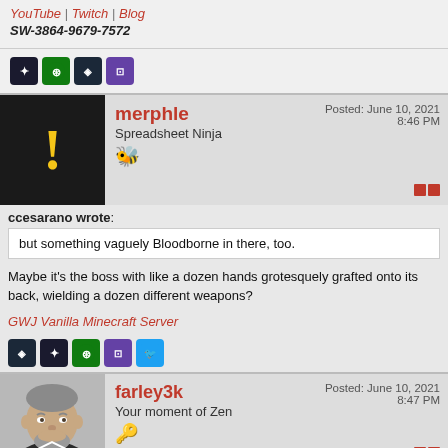YouTube | Twitch | Blog
SW-3864-9679-7572
[Figure (infographic): Row of social/gaming platform icons: Curse, Xbox, Steam, Twitch]
merphle
Spreadsheet Ninja
🐝
Posted: June 10, 2021 8:46 PM
ccesarano wrote: but something vaguely Bloodborne in there, too.
Maybe it's the boss with like a dozen hands grotesquely grafted onto its back, wielding a dozen different weapons?
GWJ Vanilla Minecraft Server
[Figure (infographic): Row of social/gaming platform icons: Steam, Curse, Xbox, Twitch, Twitter]
farley3k
Your moment of Zen
🔑
Posted: June 10, 2021 8:47 PM